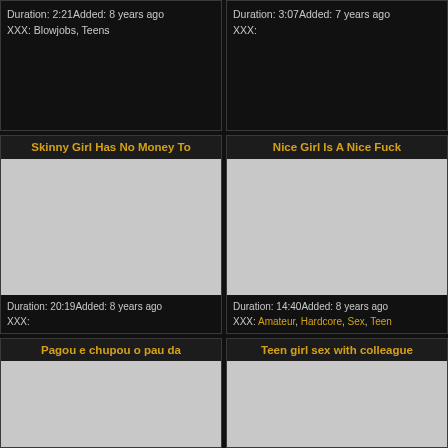Duration: 2:21Added: 8 years ago XXX: Blowjobs, Teens
Duration: 3:07Added: 7 years ago XXX:
Skinny Girl Has No Money To
Nice Girl Is A Nice Fuck
[Figure (photo): Video thumbnail placeholder - gray rectangle]
[Figure (photo): Video thumbnail placeholder - gray rectangle]
Duration: 20:19Added: 8 years ago XXX:
Duration: 14:40Added: 8 years ago XXX: Amateur, Hardcore, Sex, Teen
Pagou e chupou o pau da
Teen girl sex with colleague
[Figure (photo): Video thumbnail placeholder - gray rectangle (partial)]
[Figure (photo): Video thumbnail placeholder - gray rectangle (partial)]